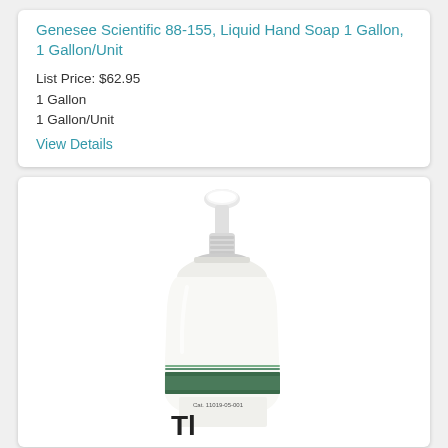Genesee Scientific 88-155, Liquid Hand Soap 1 Gallon, 1 Gallon/Unit
List Price: $62.95
1 Gallon
1 Gallon/Unit
View Details
[Figure (photo): White pump dispenser bottle of Genesee Scientific liquid hand soap, showing the pump top and part of the label with green stripe and text 'Cat. 11019-05-001 Tl...']